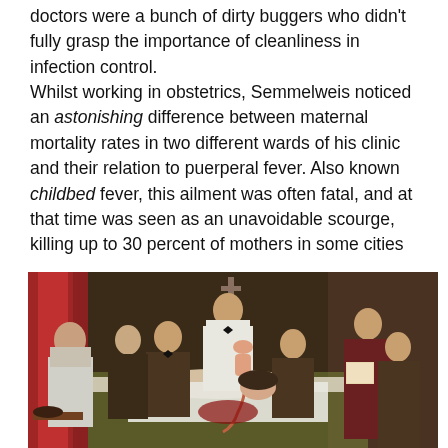doctors were a bunch of dirty buggers who didn't fully grasp the importance of cleanliness in infection control.
Whilst working in obstetrics, Semmelweis noticed an astonishing difference between maternal mortality rates in two different wards of his clinic and their relation to puerperal fever. Also known childbed fever, this ailment was often fatal, and at that time was seen as an unavoidable scourge, killing up to 30 percent of mothers in some cities
[Figure (illustration): Historical painting depicting a medical childbirth scene with multiple figures including doctors, a woman in labor lying on a bed, a woman assistant on the left, a central figure holding a newborn, and a monk reading from a book on the right. Background shows a red curtain and a cross on the wall.]